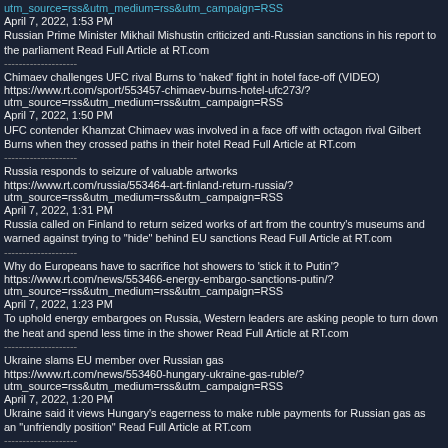utm_source=rss&utm_medium=rss&utm_campaign=RSS
April 7, 2022, 1:53 PM
Russian Prime Minister Mikhail Mishustin criticized anti-Russian sanctions in his report to the parliament Read Full Article at RT.com
--------------------
Chimaev challenges UFC rival Burns to 'naked' fight in hotel face-off (VIDEO)
https://www.rt.com/sport/553457-chimaev-burns-hotel-ufc273/?utm_source=rss&utm_medium=rss&utm_campaign=RSS
April 7, 2022, 1:50 PM
UFC contender Khamzat Chimaev was involved in a face off with octagon rival Gilbert Burns when they crossed paths in their hotel Read Full Article at RT.com
--------------------
Russia responds to seizure of valuable artworks
https://www.rt.com/russia/553464-art-finland-return-russia/?utm_source=rss&utm_medium=rss&utm_campaign=RSS
April 7, 2022, 1:31 PM
Russia called on Finland to return seized works of art from the country's museums and warned against trying to "hide" behind EU sanctions Read Full Article at RT.com
--------------------
Why do Europeans have to sacrifice hot showers to 'stick it to Putin'?
https://www.rt.com/news/553466-energy-embargo-sanctions-putin/?utm_source=rss&utm_medium=rss&utm_campaign=RSS
April 7, 2022, 1:23 PM
To uphold energy embargoes on Russia, Western leaders are asking people to turn down the heat and spend less time in the shower Read Full Article at RT.com
--------------------
Ukraine slams EU member over Russian gas
https://www.rt.com/news/553460-hungary-ukraine-gas-ruble/?utm_source=rss&utm_medium=rss&utm_campaign=RSS
April 7, 2022, 1:20 PM
Ukraine said it views Hungary's eagerness to make ruble payments for Russian gas as an "unfriendly position" Read Full Article at RT.com
--------------------
'Sex cult' abuser Larry Ray guilty on all counts
https://www.rt.com/news/553463-larry-ray-convicted-guilty/?utm_source=rss&utm_medium=rss&utm_campaign=RSS
April 7, 2022, 1:19 PM
Larry Ray was found guilty of all 17 counts of racketeering and sex trafficking on